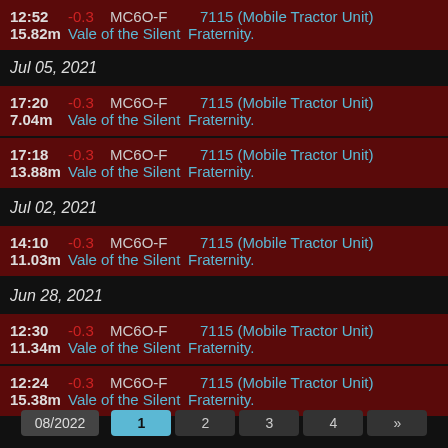12:52  -0.3  MC6O-F  7115 (Mobile Tractor Unit)  15.82m  Vale of the Silent  Fraternity.
Jul 05, 2021
17:20  -0.3  MC6O-F  7115 (Mobile Tractor Unit)  7.04m  Vale of the Silent  Fraternity.
17:18  -0.3  MC6O-F  7115 (Mobile Tractor Unit)  13.88m  Vale of the Silent  Fraternity.
Jul 02, 2021
14:10  -0.3  MC6O-F  7115 (Mobile Tractor Unit)  11.03m  Vale of the Silent  Fraternity.
Jun 28, 2021
12:30  -0.3  MC6O-F  7115 (Mobile Tractor Unit)  11.34m  Vale of the Silent  Fraternity.
12:24  -0.3  MC6O-F  7115 (Mobile Tractor Unit)  15.38m  Vale of the Silent  Fraternity.
08/2022  1  2  3  4  »